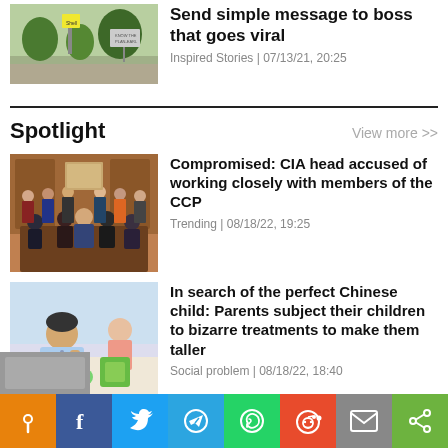[Figure (photo): Thumbnail photo of a street scene with a gas station sign and trees]
Send simple message to boss that goes viral
Inspired Stories | 07/13/21, 20:25
Spotlight
View more >>
[Figure (photo): Group photo of people in formal attire seated and standing around a conference table in a wood-paneled room]
Compromised: CIA head accused of working closely with members of the CCP
Trending | 08/18/22, 19:25
[Figure (photo): Child writing or drawing at a desk with colorful materials]
In search of the perfect Chinese child: Parents subject their children to bizarre treatments to make them taller
Social problem | 08/18/22, 18:40
[Figure (other): Social sharing bar with icons for Pinterest, Facebook, Twitter, Telegram, WhatsApp, Reddit, Email, and Share]